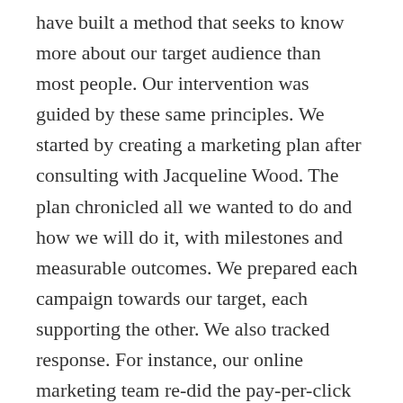have built a method that seeks to know more about our target audience than most people. Our intervention was guided by these same principles. We started by creating a marketing plan after consulting with Jacqueline Wood. The plan chronicled all we wanted to do and how we will do it, with milestones and measurable outcomes. We prepared each campaign towards our target, each supporting the other. We also tracked response. For instance, our online marketing team re-did the pay-per-click campaign directed at Altrincham customers. We then analysed the traffic using two